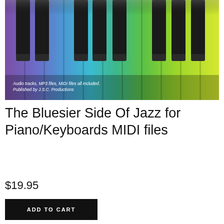[Figure (photo): Colorful rainbow-painted piano keys viewed from a close angle. Keys go from purple on the left through blue, cyan, teal, green to yellow-green on the right. Black keys overlaid on top. Small white text overlay at bottom left reads: 'Audio tracks, MP3 files, MIDI files all included. Published by J.S.C. Productions']
The Bluesier Side Of Jazz for Piano/Keyboards MIDI files
$19.95
ADD TO CART